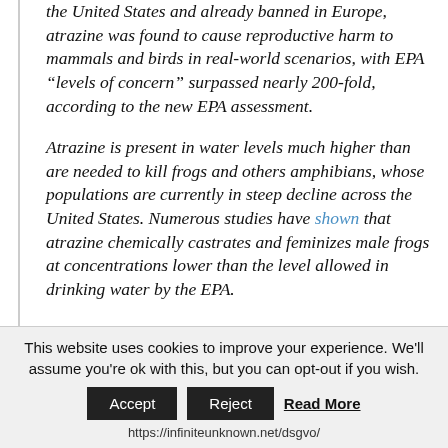the United States and already banned in Europe, atrazine was found to cause reproductive harm to mammals and birds in real-world scenarios, with EPA “levels of concern” surpassed nearly 200-fold, according to the new EPA assessment.
Atrazine is present in water levels much higher than are needed to kill frogs and others amphibians, whose populations are currently in steep decline across the United States. Numerous studies have shown that atrazine chemically castrates and feminizes male frogs at concentrations lower than the level allowed in drinking water by the EPA.
This website uses cookies to improve your experience. We'll assume you're ok with this, but you can opt-out if you wish.
Accept | Reject | Read More
https://infiniteunknown.net/dsgvo/